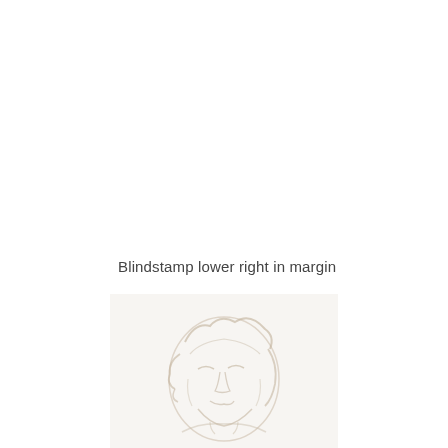Blindstamp lower right in margin
[Figure (photo): A close-up photograph of a blindstamp impression on paper showing a face portrait with wavy hair, embossed into white/cream paper. The image is faint and the embossing appears very light against the white background.]